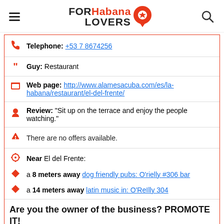FOR Habana LOVERS
Telephone: +53 7 8674256
Guy: Restaurant
Web page: http://www.alamesacuba.com/es/la-habana/restaurant/el-del-frente/
Review: "Sit up on the terrace and enjoy the people watching."
There are no offers available.
Near El del Frente:
a 8 meters away dog friendly pubs: O'rielly #306 bar
a 14 meters away latin music in: O'ReIlly 304
Are you the owner of the business? PROMOTE IT!